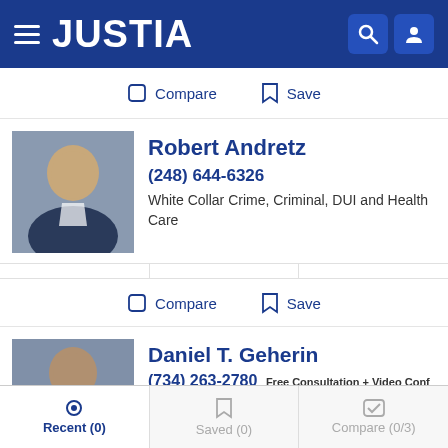JUSTIA
Compare  Save
Robert Andretz
(248) 644-6326
White Collar Crime, Criminal, DUI and Health Care
website  profile  email
Compare  Save
Daniel T. Geherin
(734) 263-2780 Free Consultation + Video Conf
White Collar Crime, Criminal, DUI and Juvenile
Recent (0)  Saved (0)  Compare (0/3)